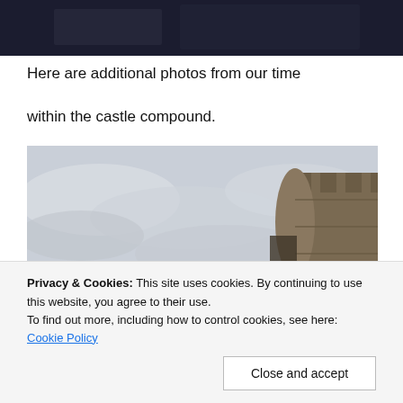[Figure (photo): Dark photo at top of page, partially visible]
Here are additional photos from our time

within the castle compound.
[Figure (photo): Photo of a castle tower against an overcast grey sky]
[Figure (photo): Bottom photo partially visible, showing a distant cityscape or landscape]
Privacy & Cookies: This site uses cookies. By continuing to use this website, you agree to their use.
To find out more, including how to control cookies, see here: Cookie Policy
Close and accept